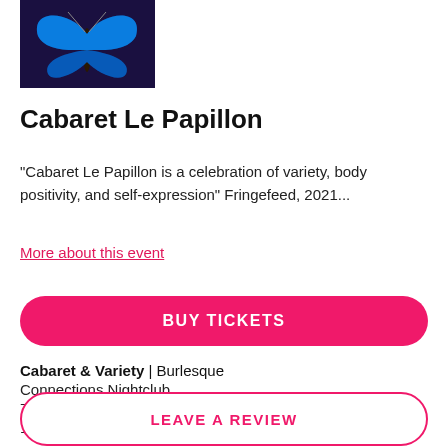[Figure (photo): Blue butterfly on dark navy background]
Cabaret Le Papillon
"Cabaret Le Papillon is a celebration of variety, body positivity, and self-expression" Fringefeed, 2021...
More about this event
BUY TICKETS
Cabaret & Variety | Burlesque
Connections Nightclub
7:30pm
14 Jan - 15 Jan
LEAVE A REVIEW